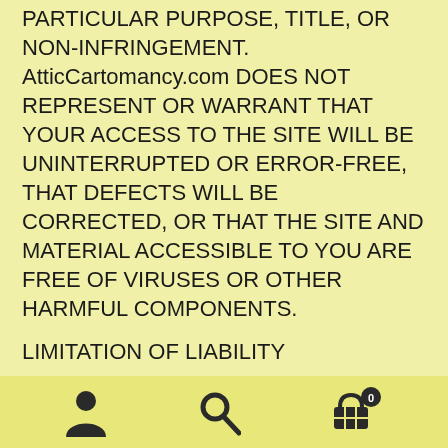PARTICULAR PURPOSE, TITLE, OR NON-INFRINGEMENT. AtticCartomancy.com DOES NOT REPRESENT OR WARRANT THAT YOUR ACCESS TO THE SITE WILL BE UNINTERRUPTED OR ERROR-FREE, THAT DEFECTS WILL BE CORRECTED, OR THAT THE SITE AND MATERIAL ACCESSIBLE TO YOU ARE FREE OF VIRUSES OR OTHER HARMFUL COMPONENTS.
LIMITATION OF LIABILITY
AtticCartomancy.com AND ITS AFFILIATES WILL NOT BE LIABLE FOR ANY DIRECT, INDIRECT, INCIDENTAL, PUNITIVE, CONSEQUENTIAL, OR ANY OTHER DAMAGES WHATSOEVER THAT RESULT FROM THE USE OR PERFORMANCE OF, OR THE INABILITY TO USE, THIS SITE.
[user icon] [search icon] [cart icon with badge 0]